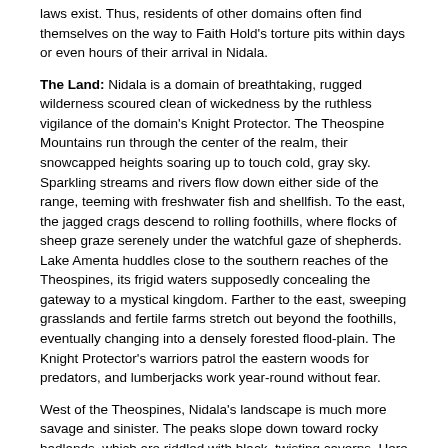laws exist. Thus, residents of other domains often find themselves on the way to Faith Hold's torture pits within days or even hours of their arrival in Nidala.
The Land: Nidala is a domain of breathtaking, rugged wilderness scoured clean of wickedness by the ruthless vigilance of the domain's Knight Protector. The Theospine Mountains run through the center of the realm, their snowcapped heights soaring up to touch cold, gray sky. Sparkling streams and rivers flow down either side of the range, teeming with freshwater fish and shellfish. To the east, the jagged crags descend to rolling foothills, where flocks of sheep graze serenely under the watchful gaze of shepherds. Lake Amenta huddles close to the southern reaches of the Theospines, its frigid waters supposedly concealing the gateway to a mystical kingdom. Farther to the east, sweeping grasslands and fertile farms stretch out beyond the foothills, eventually changing into a densely forested flood-plain. The Knight Protector's warriors patrol the eastern woods for predators, and lumberjacks work year-round without fear.
West of the Theospines, Nidala's landscape is much more savage and sinister. The peaks slope down toward rocky badlands, which are riddled with black, twisting caverns. Here the air is still and swollen with a palpable tension. As the barren hills descend into gloomy forests, the sense of dread heightens. The gnarled trees creak and sway regardless of the winds, making even seasoned woodsmen edgy. Snapping twigs and low growls betray the movements of stalking beasts, natural and otherwise.